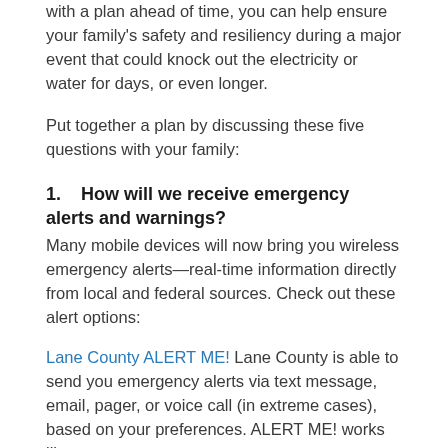with a plan ahead of time, you can help ensure your family's safety and resiliency during a major event that could knock out the electricity or water for days, or even longer.
Put together a plan by discussing these five questions with your family:
1.    How will we receive emergency alerts and warnings?
Many mobile devices will now bring you wireless emergency alerts—real-time information directly from local and federal sources. Check out these alert options:
Lane County ALERT ME! Lane County is able to send you emergency alerts via text message, email, pager, or voice call (in extreme cases), based on your preferences. ALERT ME! works like